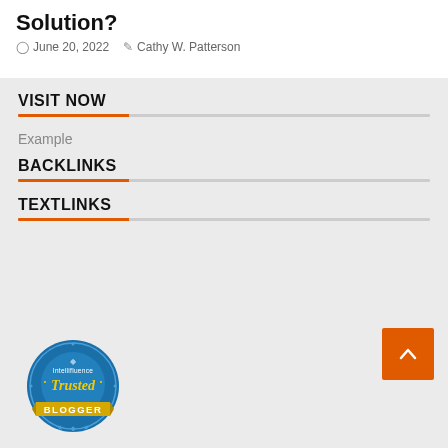Solution?
June 20, 2022   Cathy W. Patterson
VISIT NOW
Example
BACKLINKS
TEXTLINKS
[Figure (logo): Intellifluence Trusted Blogger badge - circular blue badge with yellow ribbon and text]